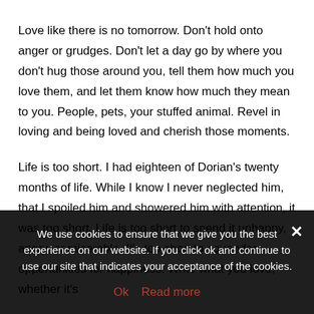Love like there is no tomorrow. Don't hold onto anger or grudges. Don't let a day go by where you don't hug those around you, tell them how much you love them, and let them know how much they mean to you. People, pets, your stuffed animal. Revel in loving and being loved and cherish those moments.
Life is too short. I had eighteen of Dorian's twenty months of life. While I know I never neglected him, that I spoiled him and showered him with attention, it was too short. Life is too short to spend it unhappy, angry, or miserable. It's too short to squander opportunities for happiness. Write what you love, whether it's popular or not. Write what you're proud of. Life is too short to... Don't let anyone lessen your skills, friends, loves, and life.
And finally, it doesn't get better, it only gets easier, loss is a...
We use cookies to ensure that we give you the best experience on our website. If you click ok and continue to use our site that indicates your acceptance of the cookies.